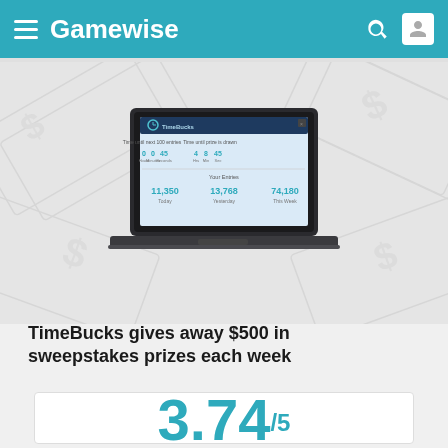Gamewise
[Figure (screenshot): Screenshot of TimeBucks website showing countdown timers and earnings statistics (11,350 Today, 13,768 Yesterday, 74,190 This Week), displayed on a laptop computer with money/cash background]
TimeBucks gives away $500 in sweepstakes prizes each week
3.74/5